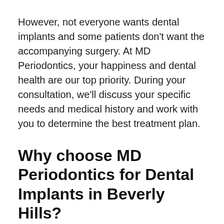However, not everyone wants dental implants and some patients don't want the accompanying surgery. At MD Periodontics, your happiness and dental health are our top priority. During your consultation, we'll discuss your specific needs and medical history and work with you to determine the best treatment plan.
Why choose MD Periodontics for Dental Implants in Beverly Hills?
MD Periodontics in Beverly Hills has become a worldwide destination for patients seeking dental implants. Dr. Moshrefi and Dr. Daneshmand, both board-certified periodontists, have a deep understanding of gum and jaw structure. They